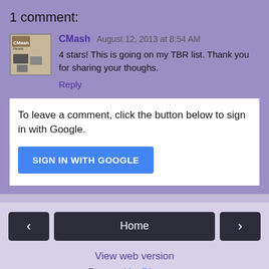1 comment:
CMash  August 12, 2013 at 8:54 AM
4 stars! This is going on my TBR list. Thank you for sharing your thoughs.
Reply
To leave a comment, click the button below to sign in with Google.
SIGN IN WITH GOOGLE
Home
View web version
Powered by Blogger.